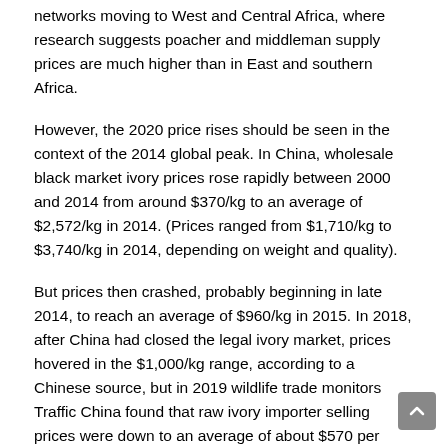networks moving to West and Central Africa, where research suggests poacher and middleman supply prices are much higher than in East and southern Africa.
However, the 2020 price rises should be seen in the context of the 2014 global peak. In China, wholesale black market ivory prices rose rapidly between 2000 and 2014 from around $370/kg to an average of $2,572/kg in 2014. (Prices ranged from $1,710/kg to $3,740/kg in 2014, depending on weight and quality).
But prices then crashed, probably beginning in late 2014, to reach an average of $960/kg in 2015. In 2018, after China had closed the legal ivory market, prices hovered in the $1,000/kg range, according to a Chinese source, but in 2019 wildlife trade monitors Traffic China found that raw ivory importer selling prices were down to an average of about $570 per kilogramme. Prices in China are complicated by the